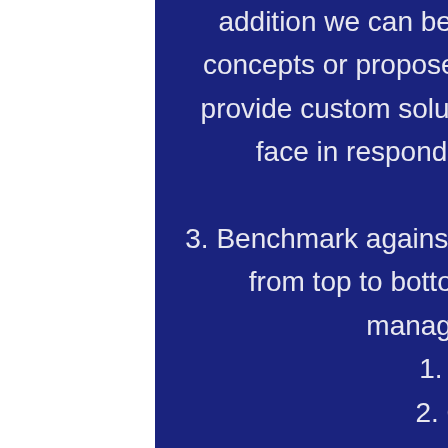addition we can be used as a sounding board for new concepts or proposed organizational changes or we can provide custom solutions for specific challenges that you face in responding to a rapidly changing market environment.
3. Benchmark against Global Standards. We work with you from top to bottom on a variety of disciplines and management areas including:
1. Profitability targets
2. Overall - we review